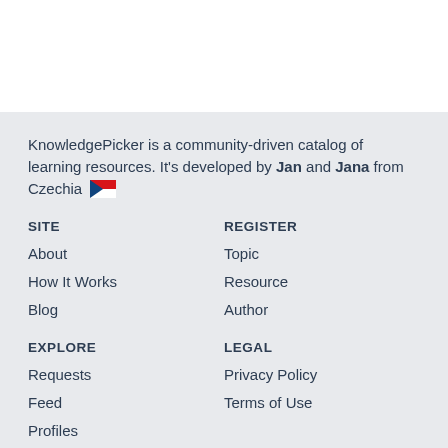KnowledgePicker is a community-driven catalog of learning resources. It's developed by Jan and Jana from Czechia 🇨🇿
SITE
About
How It Works
Blog
REGISTER
Topic
Resource
Author
EXPLORE
Requests
Feed
Profiles
LEGAL
Privacy Policy
Terms of Use